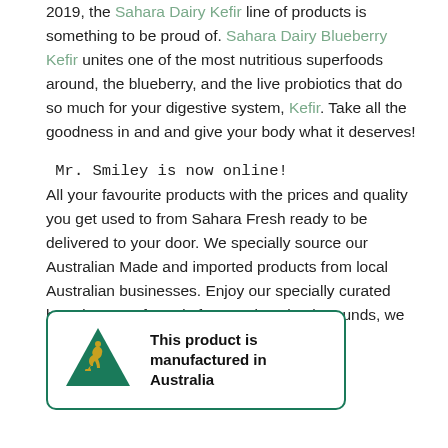2019, the Sahara Dairy Kefir line of products is something to be proud of. Sahara Dairy Blueberry Kefir unites one of the most nutritious superfoods around, the blueberry, and the live probiotics that do so much for your digestive system, Kefir. Take all the goodness in and and give your body what it deserves!
Mr. Smiley is now online! All your favourite products with the prices and quality you get used to from Sahara Fresh ready to be delivered to your door. We specially source our Australian Made and imported products from local Australian businesses. Enjoy our specially curated broad range of goods from various backgrounds, we definitely have a product for your tast
[Figure (logo): Australian Made logo with green triangle and kangaroo, with bold text: This product is manufactured in Australia]